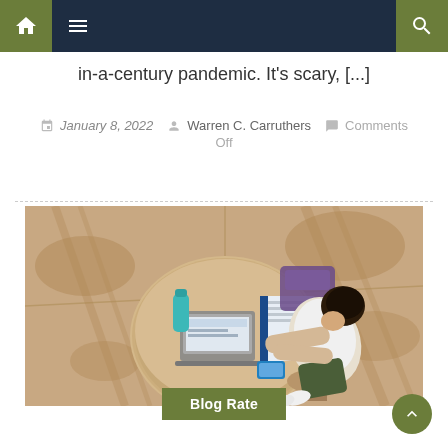Navigation bar with home, menu, and search icons
in-a-century pandemic. It's scary, [...]
January 8, 2022  Warren C. Carruthers  Comments Off
[Figure (photo): Aerial view of a student sitting at a round outdoor table with a laptop, notebook binder, water bottle, and phone, studying outdoors on a sunny day with tree shadows on the ground.]
Blog Rate